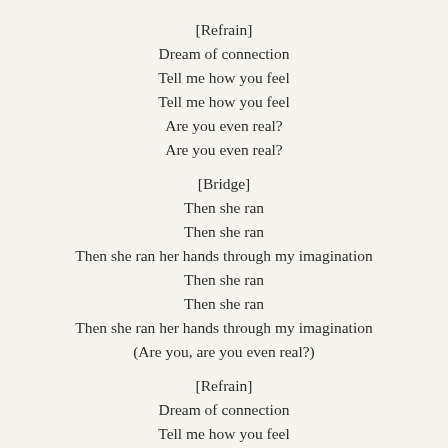[Refrain]
Dream of connection
Tell me how you feel
Tell me how you feel
Are you even real?
Are you even real?

[Bridge]
Then she ran
Then she ran
Then she ran her hands through my imagination
Then she ran
Then she ran
Then she ran her hands through my imagination
(Are you, are you even real?)

[Refrain]
Dream of connection
Tell me how you feel
Tell me how you feel
Are you even real?
Are you even real?